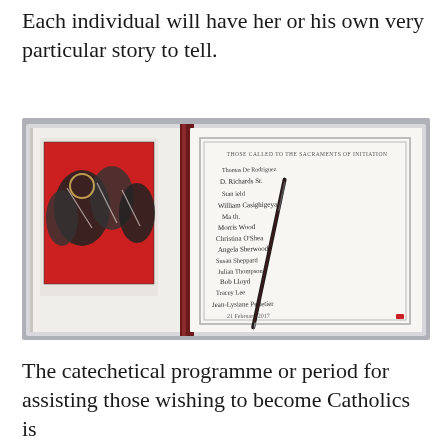Each individual will have her or his own very particular story to tell.
[Figure (photo): Open book with handwritten list of names titled 'Those Called to the Sacraments of Initiation', with a pen resting on the page and a red and black illustration visible on the left page.]
The catechetical programme or period for assisting those wishing to become Catholics is